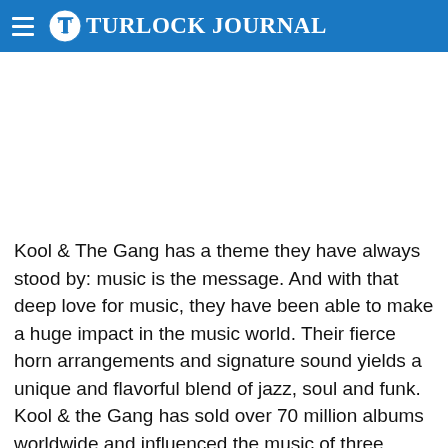Turlock Journal
Kool & The Gang has a theme they have always stood by: music is the message. And with that deep love for music, they have been able to make a huge impact in the music world. Their fierce horn arrangements and signature sound yields a unique and flavorful blend of jazz, soul and funk. Kool & the Gang has sold over 70 million albums worldwide and influenced the music of three generations. Thanks to songs like “Celebration,” “Cherish,” “Jungle